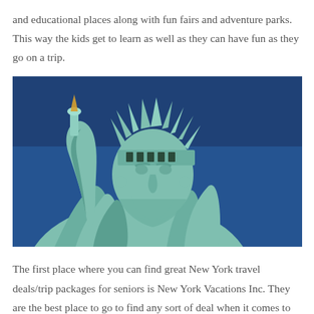and educational places along with fun fairs and adventure parks. This way the kids get to learn as well as they can have fun as they go on a trip.
[Figure (photo): Close-up photograph of the Statue of Liberty against a deep blue sky, showing the face, crown, and raised torch arm.]
The first place where you can find great New York travel deals/trip packages for seniors is New York Vacations Inc. They are the best place to go to find any sort of deal when it comes to traveling in New York.